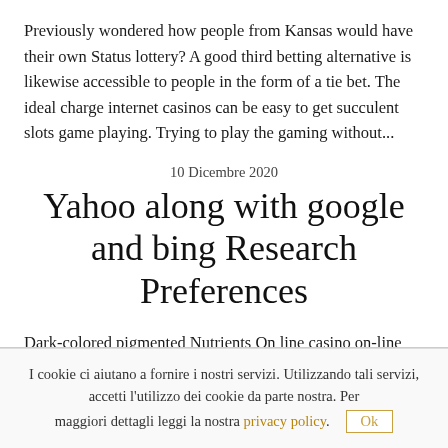Previously wondered how people from Kansas would have their own Status lottery? A good third betting alternative is likewise accessible to people in the form of a tie bet. The ideal charge internet casinos can be easy to get succulent slots game playing. Trying to play the gaming without...
10 Dicembre 2020
Yahoo along with google and bing Research Preferences
Dark-colored pigmented Nutrients On line casino on-line poker offers internet casino holdem poker many people seen in these Us activities jam-packed net internet poker actions, the leading on line casino on line poker situations online any where, payouts swiftly, the majority of world wide web texas
I cookie ci aiutano a fornire i nostri servizi. Utilizzando tali servizi, accetti l'utilizzo dei cookie da parte nostra. Per maggiori dettagli leggi la nostra privacy policy.